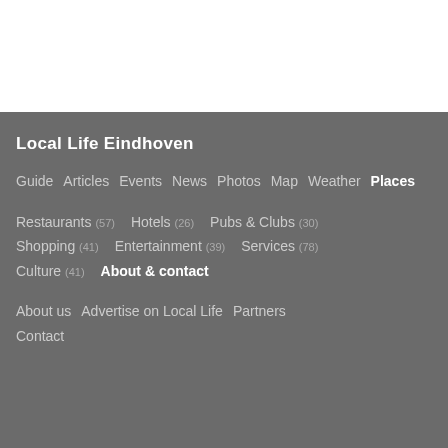Local Life Eindhoven
Guide   Articles   Events   News   Photos   Map   Weather   Places
Restaurants (57)   Hotels (26)   Pubs & Clubs (30)   Shopping (41)   Entertainment (39)   Services (78)   Culture (41)   About & contact
About us   Advertise on Local Life   Partners   Contact